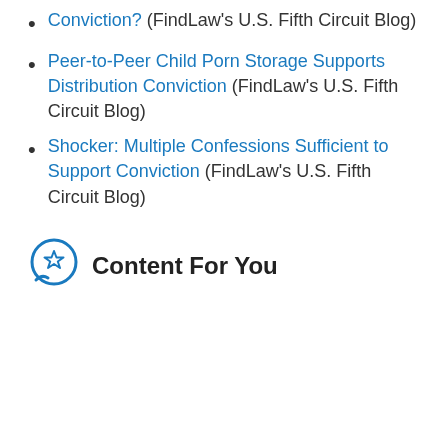Conviction? (FindLaw's U.S. Fifth Circuit Blog)
Peer-to-Peer Child Porn Storage Supports Distribution Conviction (FindLaw's U.S. Fifth Circuit Blog)
Shocker: Multiple Confessions Sufficient to Support Conviction (FindLaw's U.S. Fifth Circuit Blog)
Content For You